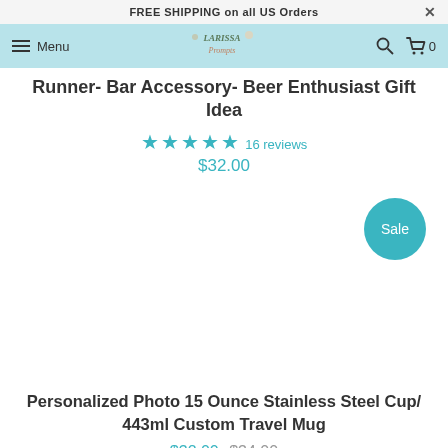FREE SHIPPING on all US Orders
Menu
Runner- Bar Accessory- Beer Enthusiast Gift Idea
★★★★★ 16 reviews
$32.00
[Figure (other): Product image area with Sale badge circle]
Personalized Photo 15 Ounce Stainless Steel Cup/ 443ml Custom Travel Mug
$32.00 $34.00